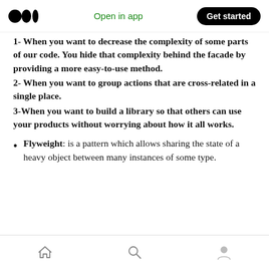Open in app  Get started
1- When you want to decrease the complexity of some parts of our code. You hide that complexity behind the facade by providing a more easy-to-use method.
2- When you want to group actions that are cross-related in a single place.
3-When you want to build a library so that others can use your products without worrying about how it all works.
Flyweight: is a pattern which allows sharing the state of a heavy object between many instances of some type.
Home  Search  Profile